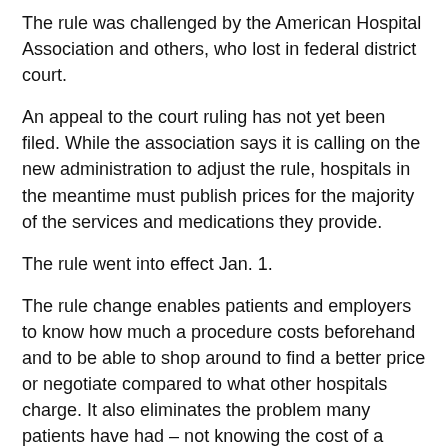The rule was challenged by the American Hospital Association and others, who lost in federal district court.
An appeal to the court ruling has not yet been filed. While the association says it is calling on the new administration to adjust the rule, hospitals in the meantime must publish prices for the majority of the services and medications they provide.
The rule went into effect Jan. 1.
The rule change enables patients and employers to know how much a procedure costs beforehand and to be able to shop around to find a better price or negotiate compared to what other hospitals charge. It also eliminates the problem many patients have had – not knowing the cost of a procedure until after it is performed and after getting the bill in the mail.
“With access to real prices, including discounted cash and secret negotiated rates, patients and employers are now empowered to shop for less expensive care and avoid